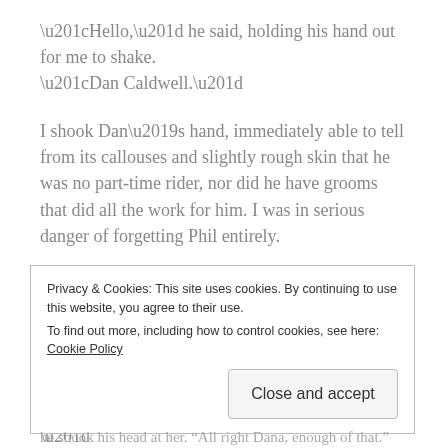“Hello,” he said, holding his hand out for me to shake. “Dan Caldwell.”
I shook Dan’s hand, immediately able to tell from its callouses and slightly rough skin that he was no part-time rider, nor did he have grooms that did all the work for him. I was in serious danger of forgetting Phil entirely.
“I’m Katy,” I added belatedly. “Katy O’Reilly.”
“That’s an Irish name,” he commented, raising his eyebrows. “But you’re not from around here, are you?”
Privacy & Cookies: This site uses cookies. By continuing to use this website, you agree to their use.
To find out more, including how to control cookies, see here: Cookie Policy
he shook his head at her. “All right Dana, enough of that.”